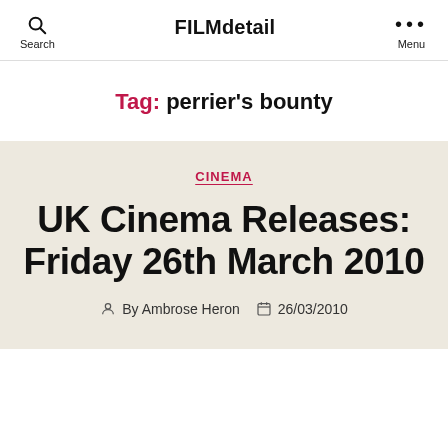FILMdetail
Tag: perrier's bounty
CINEMA
UK Cinema Releases: Friday 26th March 2010
By Ambrose Heron  26/03/2010